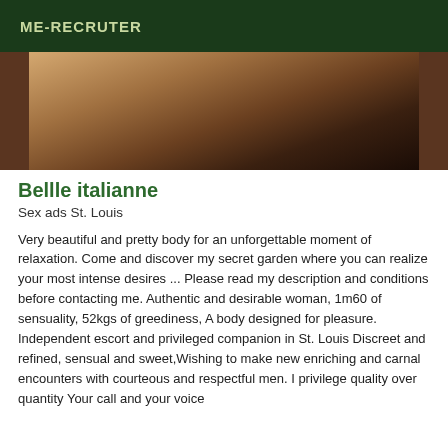ME-RECRUTER
[Figure (photo): Partial view of a person's body, cropped photograph with warm brown tones against a light background]
Bellle italianne
Sex ads St. Louis
Very beautiful and pretty body for an unforgettable moment of relaxation. Come and discover my secret garden where you can realize your most intense desires ... Please read my description and conditions before contacting me. Authentic and desirable woman, 1m60 of sensuality, 52kgs of greediness, A body designed for pleasure. Independent escort and privileged companion in St. Louis Discreet and refined, sensual and sweet,Wishing to make new enriching and carnal encounters with courteous and respectful men. I privilege quality over quantity Your call and your voice